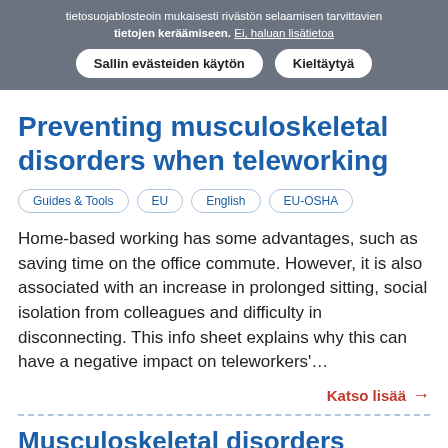tietosuojablosteoin mukaisesti rivästön selaamisen tarvittavien tietojen keräämiseen. Ei, haluan lisätietoa
Sallin evästeiden käytön   Kieltäytyä
Preventing musculoskeletal disorders when teleworking
Guides & Tools   EU   English   EU-OSHA
Home-based working has some advantages, such as saving time on the office commute. However, it is also associated with an increase in prolonged sitting, social isolation from colleagues and difficulty in disconnecting. This info sheet explains why this can have a negative impact on teleworkers'…
Katso lisää →
Musculoskeletal disorders related to